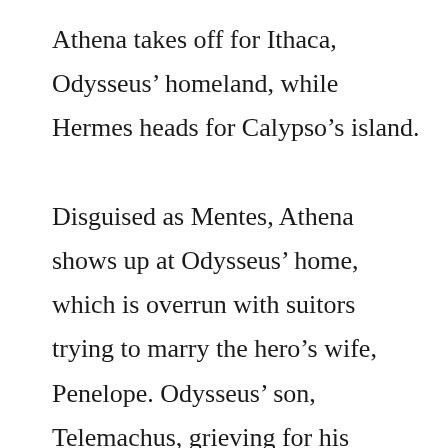Athena takes off for Ithaca, Odysseus' homeland, while Hermes heads for Calypso's island.

Disguised as Mentes, Athena shows up at Odysseus' home, which is overrun with suitors trying to marry the hero's wife, Penelope. Odysseus' son, Telemachus, grieving for his father, welcomes Mentes. Athena then lays out a plan, instructing Telemachus to sail to Pylos and Sparta in search of news about his father. Telemachus